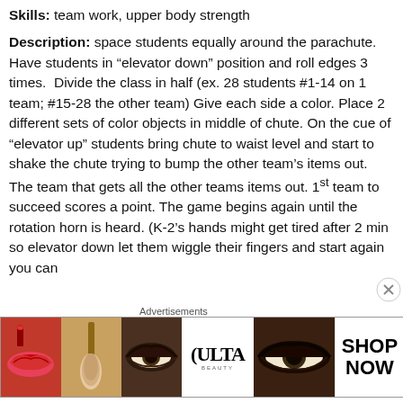Skills: team work, upper body strength
Description: space students equally around the parachute. Have students in “elevator down” position and roll edges 3 times.  Divide the class in half (ex. 28 students #1-14 on 1 team; #15-28 the other team) Give each side a color. Place 2 different sets of color objects in middle of chute. On the cue of “elevator up” students bring chute to waist level and start to shake the chute trying to bump the other team’s items out. The team that gets all the other teams items out. 1st team to succeed scores a point. The game begins again until the rotation horn is heard. (K-2’s hands might get tired after 2 min so elevator down let them wiggle their fingers and start again you can
[Figure (other): Advertisement banner for ULTA beauty products showing close-up images of lips, makeup brush, eyes, ULTA logo, more eyes, and SHOP NOW text]
Advertisements